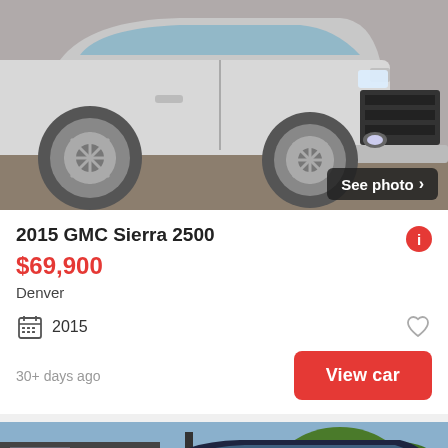[Figure (photo): Silver GMC Sierra 2500 truck viewed from front-left side, parked on pavement with See photo button overlay]
2015 GMC Sierra 2500
$69,900
Denver
2015
30+ days ago
View car
[Figure (photo): Dark blue/black Chevrolet Silverado truck at a dealership lot with trees in background and See photo button overlay]